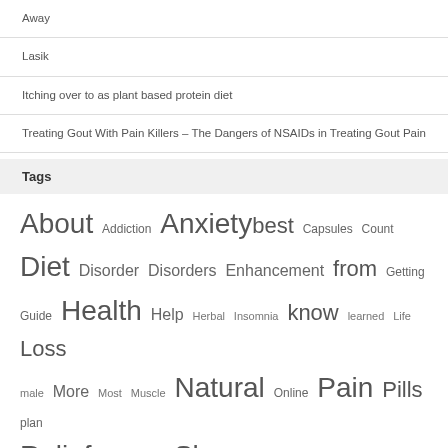Away
Lasik
Itching over to as plant based protein diet
Treating Gout With Pain Killers – The Dangers of NSAIDs in Treating Gout Pain
Tags
About Addiction Anxiety best Capsules Count Diet Disorder Disorders Enhancement from Getting Guide Health Help Herbal Insomnia know learned Life Loss male More Most Muscle Natural Online Pain Pills plan Relief Should Skin Sleep Stress Supplement Support